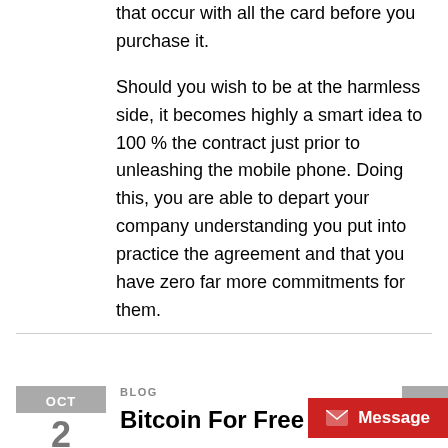that occur with all the card before you purchase it.
Should you wish to be at the harmless side, it becomes highly a smart idea to 100 % the contract just prior to unleashing the mobile phone. Doing this, you are able to depart your company understanding you put into practice the agreement and that you have zero far more commitments for them.
BLOG
Bitcoin For Free – H...
OCT
Message